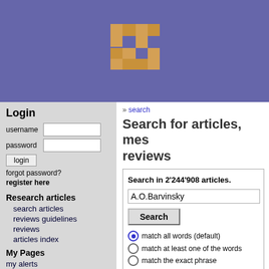[Figure (logo): Website logo with orange/tan pixel-art bracket-like icon on purple/blue background]
Login
username [input] password [input] login button forgot password? register here
Research articles
search articles
reviews guidelines
reviews
articles index
My Pages
my alerts
my messages
my reviews
my favorites
» search
Search for articles, mes reviews
Search in 2'244'908 articles.
A.O.Barvinsky
Search
match all words (default)
match at least one of the words
match the exact phrase
Results 1 to 20 of 81 for query "A.O.Barvinsky". (0.0...
[ 1 2 3 4 5 ] Next ▶
1